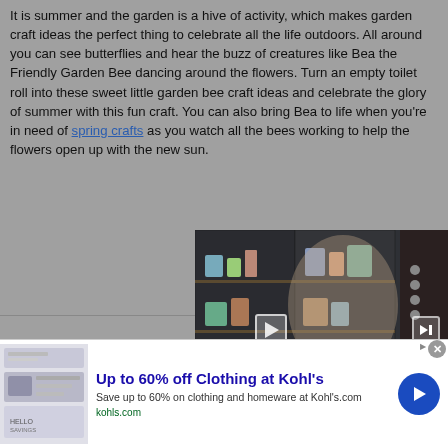It is summer and the garden is a hive of activity, which makes garden craft ideas the perfect thing to celebrate all the life outdoors. All around you can see butterflies and hear the buzz of creatures like Bea the Friendly Garden Bee dancing around the flowers. Turn an empty toilet roll into these sweet little garden bee craft ideas and celebrate the glory of summer with this fun craft. You can also bring Bea to life when you're in need of spring crafts as you watch all the bees working to help the flowers open up with the new sun.
[Figure (screenshot): Video player showing a woman standing at a table in front of a bookshelf, with a wooden crate. Video controls visible. Label reads ULTIMATE SUMMER CRAFTS.]
If your kids are looking for ways to bust up boredom
[Figure (screenshot): Advertisement banner for Kohl's: Up to 60% off Clothing at Kohl's. Save up to 60% on clothing and homeware at Kohl's.com. kohls.com]